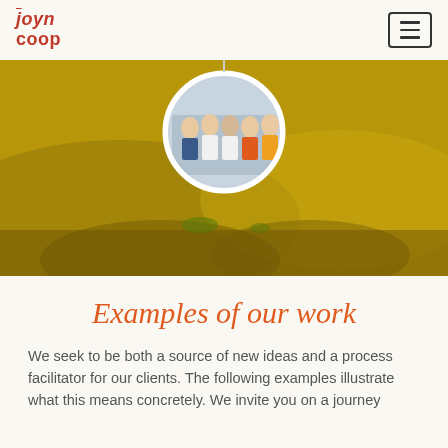joyn coop
[Figure (photo): Hero banner image: golden/yellow-toned photo of hands holding soil with plants, with a circular inset photo of a group of people (team) overlaid at the top center.]
Examples of our work
We seek to be both a source of new ideas and a process facilitator for our clients. The following examples illustrate what this means concretely. We invite you on a journey